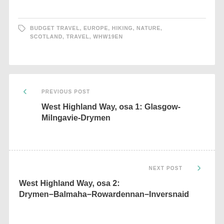BUDGET TRAVEL, EUROPE, HIKING, NATURE, SCOTLAND, TRAVEL, WHW19EN
PREVIOUS POST
West Highland Way, osa 1: Glasgow-Milngavie-Drymen
NEXT POST
West Highland Way, osa 2: Drymen−Balmaha−Rowardennan−Inversnaid